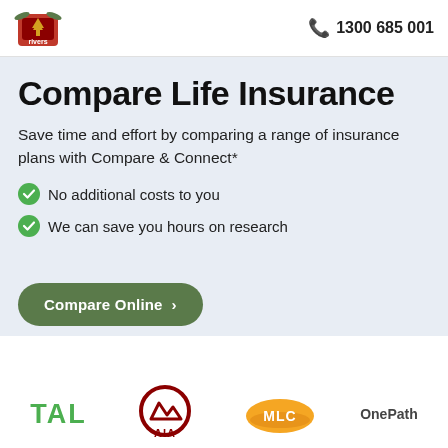rivers | 1300 685 001
Compare Life Insurance
Save time and effort by comparing a range of insurance plans with Compare & Connect*
No additional costs to you
We can save you hours on research
Compare Online >
[Figure (logo): Partner insurance brand logos: TAL, AIA, MLC, OnePath]